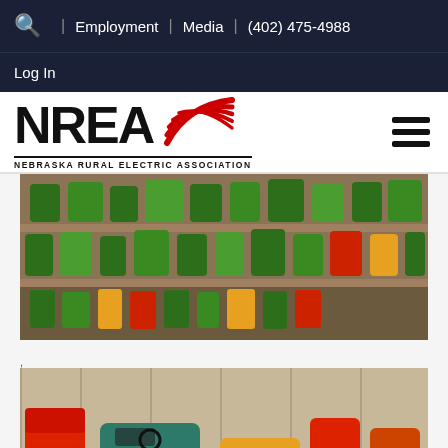Q | Employment | Media | (402) 475-4988
Log In
[Figure (logo): NREA - Nebraska Rural Electric Association logo with red swoosh graphic and hamburger menu icon]
[Figure (photo): Shelves of green John Deere toy tractor models and other farm equipment models displayed in rows]
,
[Figure (photo): Close-up of vintage toy tractors on a wooden surface, including red and green models]